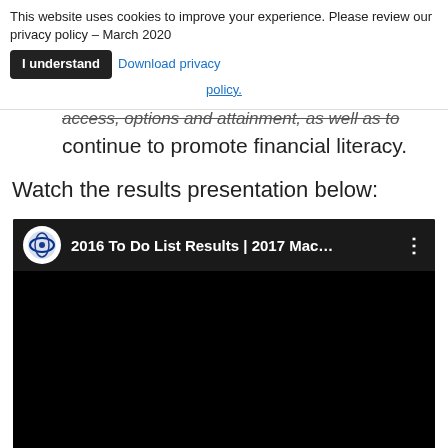This website uses cookies to improve your experience. Please review our privacy policy – March 2020   [I understand]   Download privacy policy.
access, options and attainment, as well as to continue to promote financial literacy.
Watch the results presentation below:
[Figure (screenshot): Embedded YouTube video thumbnail showing '2016 To Do List Results | 2017 Mac...' with a channel logo on the left and a three-dot menu on the right. The video area is black.]